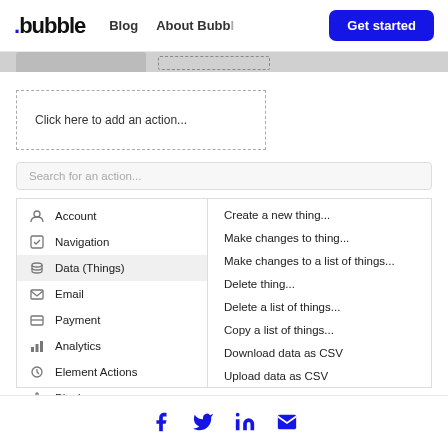.bubble  Blog  About Bubb...  Get started
[Figure (screenshot): Bubble.io app builder interface showing a workflow action panel with 'Click here to add an action...' area, a search box 'Search for an action...', a left column with categories (Account, Navigation, Data (Things), Email, Payment, Analytics, Element Actions, Plugins, Custom Events) and a right column listing Data (Things) actions: Create a new thing..., Make changes to thing..., Make changes to a list of things..., Delete thing..., Delete a list of things..., Copy a list of things..., Download data as CSV, Upload data as CSV, Delete an uploaded file, Install more data (things) actions...]
Facebook  Twitter  LinkedIn  Email